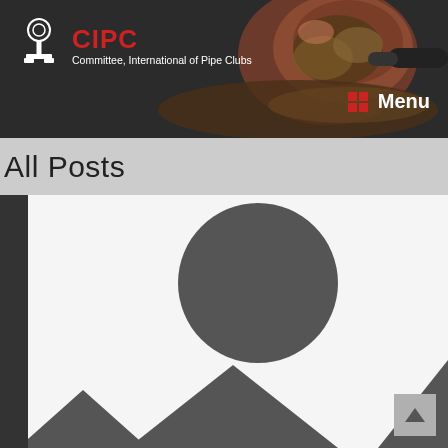[Figure (screenshot): Website header with dark background showing CIPC logo (white torch/person icon, red CIPC text, white subtitle 'Committee, International of Pipe Clubs'), a pipe photo on the right side, and a red grid icon with white 'Menu' text at the bottom right.]
All Posts
[Figure (illustration): Placeholder image with white background, dark gray mountain/landscape silhouettes and a dark gray circle (sun) at upper center — typical 'no image' placeholder icon.]